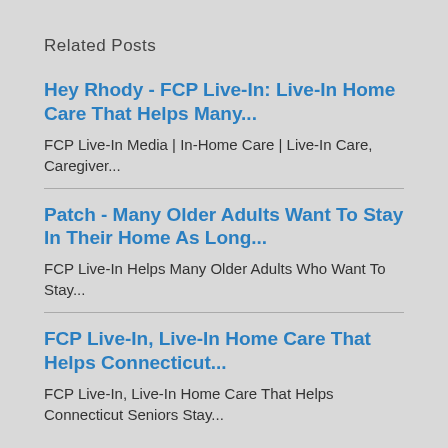Related Posts
Hey Rhody - FCP Live-In: Live-In Home Care That Helps Many...
FCP Live-In Media | In-Home Care | Live-In Care, Caregiver...
Patch - Many Older Adults Want To Stay In Their Home As Long...
FCP Live-In Helps Many Older Adults Who Want To Stay...
FCP Live-In, Live-In Home Care That Helps Connecticut...
FCP Live-In, Live-In Home Care That Helps Connecticut Seniors Stay...